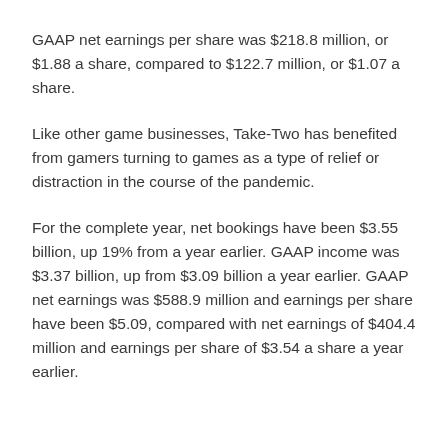GAAP net earnings per share was $218.8 million, or $1.88 a share, compared to $122.7 million, or $1.07 a share.
Like other game businesses, Take-Two has benefited from gamers turning to games as a type of relief or distraction in the course of the pandemic.
For the complete year, net bookings have been $3.55 billion, up 19% from a year earlier. GAAP income was $3.37 billion, up from $3.09 billion a year earlier. GAAP net earnings was $588.9 million and earnings per share have been $5.09, compared with net earnings of $404.4 million and earnings per share of $3.54 a share a year earlier.